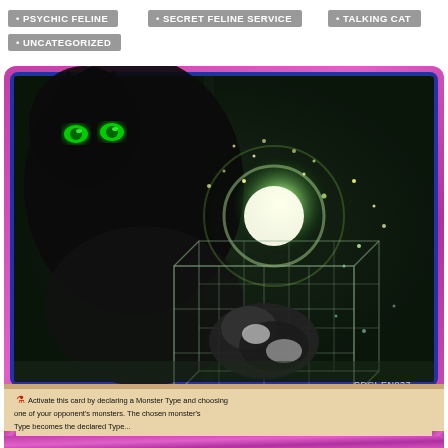PSYCHIC FELINE
SECRET FELINE SERVICE
TALKING CAT
UNCATEGORIZED
[Figure (illustration): Yu-Gi-Oh trading card with pink/magenta border and blue inner border. Card art shows a dark cat with glowing green eyes in the background, and in the foreground a black and white cat inside or near a glowing wireframe cube/box structure with light particles and sparks. Card code SDCI-EN037 visible at bottom right of art. Bottom strip shows partial card text beginning with 'Activate this card by declaring a Monster Type and choosing...']